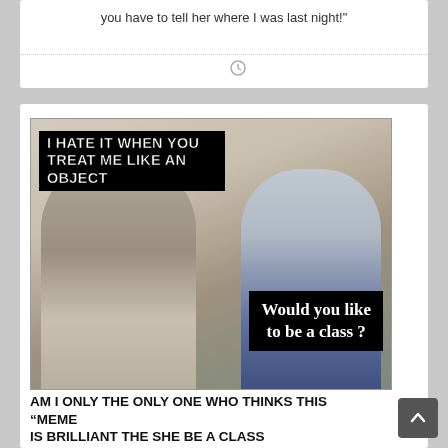you have to tell her where I was last night!"
[Figure (photo): Meme image showing a couple on a couch. Woman with braided hair sits with arms crossed looking away. Man in blue shirt gestures with hands. Top-left text reads 'I HATE IT WHEN YOU TREAT ME LIKE AN OBJECT'. Bottom-right black banner reads 'Would you like to be a class?']
AM I ONLY THE ONLY ONE WHO THINKS THIS “MEME IS BRILLIANT THE SHE BE A CLASS